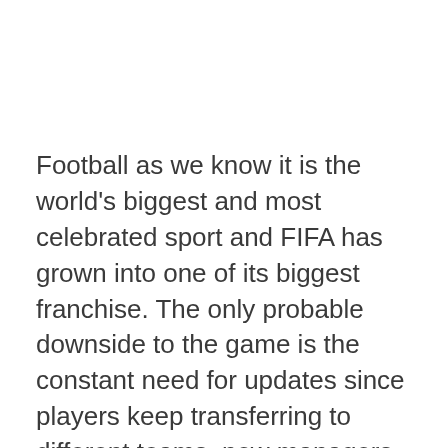Football as we know it is the world's biggest and most celebrated sport and FIFA has grown into one of its biggest franchise. The only probable downside to the game is the constant need for updates since players keep transferring to different teams, new managers are hired, and new tactics adopted. However, to keep up with the changing trends in these games, newer versions are released or extra features and updates installed into the existing ones. For the mobile version of FIFA, we have the MAD FUT 22 Draft & Pack Opener APK and this